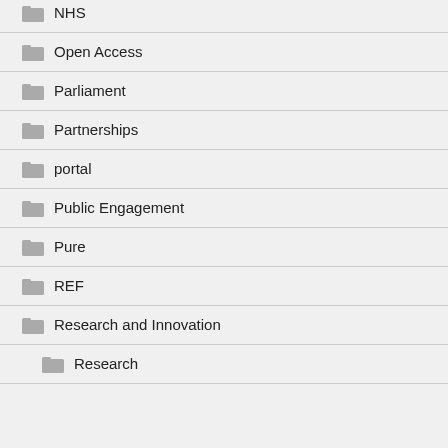NHS
Open Access
Parliament
Partnerships
portal
Public Engagement
Pure
REF
Research and Innovation
Research